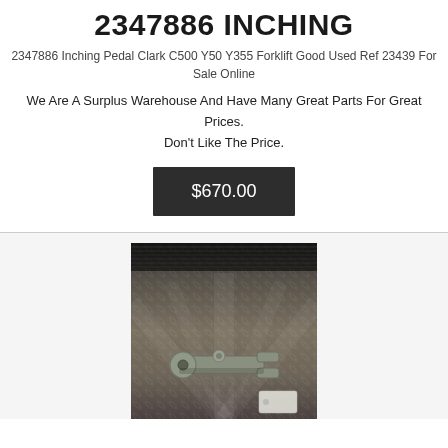2347886 INCHING
2347886 Inching Pedal Clark C500 Y50 Y355 Forklift Good Used Ref 23439 For Sale Online
We Are A Surplus Warehouse And Have Many Great Parts For Great Prices. Don't Like The Price.
$670.00
[Figure (photo): Photo of a used metal inching pedal component (Clark C500 Y50 Y355 forklift part) placed on a diamond-plate metal surface. The part is a small greenish-grey cast metal bracket/linkage piece.]